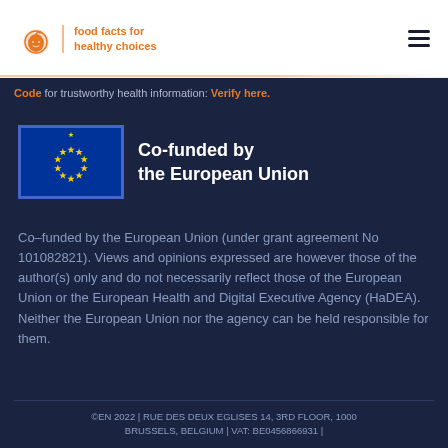eufic | food facts for healthy choices
Code for trustworthy health information: Verify here.
[Figure (logo): EU flag with circle of yellow stars on blue background, beside text 'Co-funded by the European Union' in white bold]
Co-funded by the European Union (under grant agreement No 101082821). Views and opinions expressed are however those of the author(s) only and do not necessarily reflect those of the European Union or the European Health and Digital Executive Agency (HaDEA). Neither the European Union nor the agency can be held responsible for them.
©EN 2022 | RUE DES DEUX EGLISES 14, 3RD FLOOR, 1000 BRUSSELS, BELGIUM | VAT: BE0456866931 |